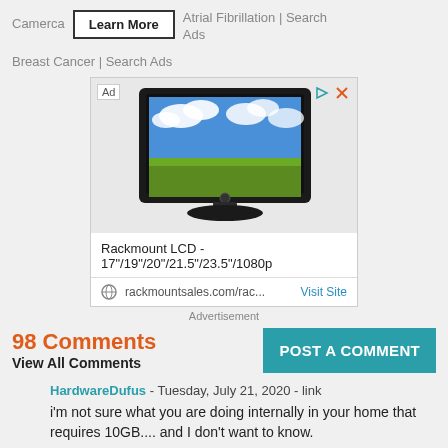Camerca   Learn More   Atrial Fibrillation | Search Ads   Breast Cancer | Search Ads
[Figure (screenshot): Advertisement banner showing a flat-screen LCD TV displaying a blue sky and green field wallpaper. Below the TV image: 'Rackmount LCD - 17"/19"/20"/21.5"/23.5"/1080p'. Footer shows globe icon, 'rackmountsales.com/rac...' and 'Visit Site' button. 'Ad' label in top-left, play/close icons in top-right.]
Advertisement
98 Comments
View All Comments
POST A COMMENT
HardwareDufus - Tuesday, July 21, 2020 - link
i'm not sure what you are doing internally in your home that requires 10GB.... and I don't want to know.